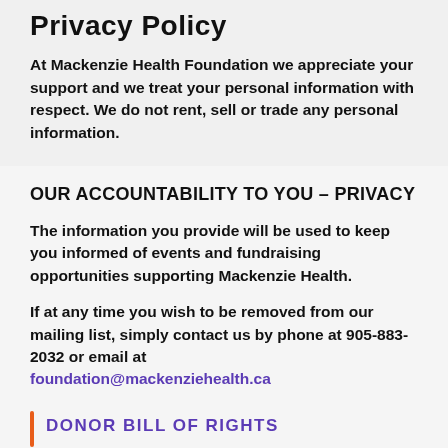Privacy Policy
At Mackenzie Health Foundation we appreciate your support and we treat your personal information with respect. We do not rent, sell or trade any personal information.
OUR ACCOUNTABILITY TO YOU – PRIVACY
The information you provide will be used to keep you informed of events and fundraising opportunities supporting Mackenzie Health.
If at any time you wish to be removed from our mailing list, simply contact us by phone at 905-883-2032 or email at foundation@mackenziehealth.ca
DONOR BILL OF RIGHTS